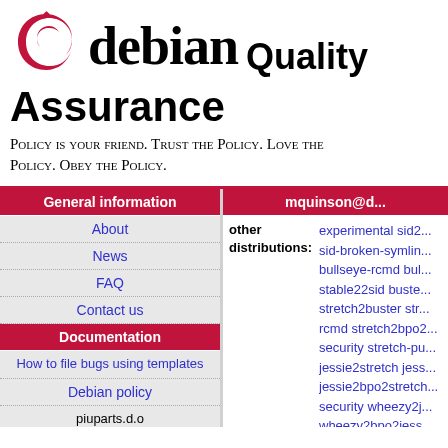[Figure (logo): Debian swirl logo in red]
debian Quality Assurance
Policy is your friend. Trust the Policy. Love the Policy. Obey the Policy.
| General information |
| --- |
| About |
| News |
| FAQ |
| Contact us |
| Documentation |
| --- |
| How to file bugs using templates |
| Debian policy |
| piuparts.d.o configuration: |
| mquinson@d... |
| --- |
| other distributions: | experimental sid2... sid-broken-symlin... bullseye-rcmd bul... stable22sid buste... stretch2buster str... rcmd stretch2bpo2... security stretch-pu... jessie2stretch jess... jessie2bpo2stretch... security wheezy2j... wheezy2bpo2jess... squeeze2wheezy-... squeeze2bpo2wh... |